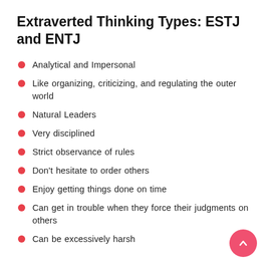Extraverted Thinking Types: ESTJ and ENTJ
Analytical and Impersonal
Like organizing, criticizing, and regulating the outer world
Natural Leaders
Very disciplined
Strict observance of rules
Don't hesitate to order others
Enjoy getting things done on time
Can get in trouble when they force their judgments on others
Can be excessively harsh